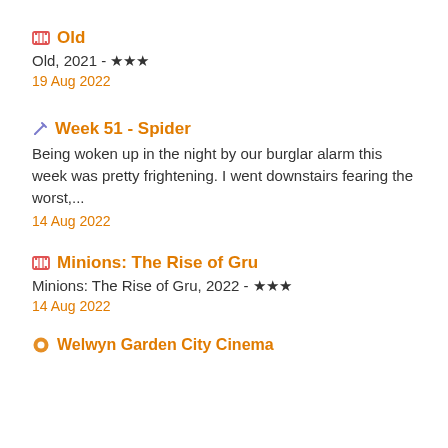Old
Old, 2021 - ★★★
19 Aug 2022
Week 51 - Spider
Being woken up in the night by our burglar alarm this week was pretty frightening. I went downstairs fearing the worst,...
14 Aug 2022
Minions: The Rise of Gru
Minions: The Rise of Gru, 2022 - ★★★
14 Aug 2022
Welwyn Garden City Cinema